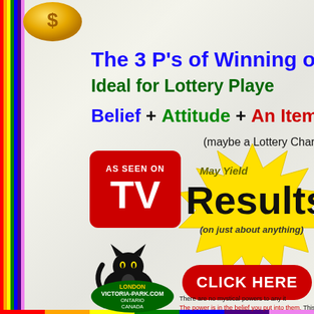The 3 P's of Winning or S
Ideal for Lottery Playe
Belief + Attitude + An Item
(maybe a Lottery Charm®)
[Figure (logo): AS SEEN ON TV red badge]
[Figure (illustration): Yellow starburst shape with 'May Yield Results (on just about anything)' text]
[Figure (illustration): Black cat figure]
[Figure (logo): Victoria-Park.com London Ontario Canada oval green logo]
CLICK HERE
for real life exa photographer, m
RIC WALLACE
There are no mystical powers to any it The power is in the belief you put into them. This is me Playing the lottery should be cons Disclaimer: We do NOT guarantee any winnings - gamble c